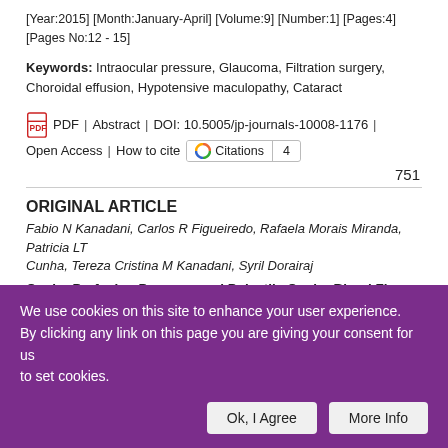[Year:2015] [Month:January-April] [Volume:9] [Number:1] [Pages:4] [Pages No:12 - 15]
Keywords: Intraocular pressure, Glaucoma, Filtration surgery, Choroidal effusion, Hypotensive maculopathy, Cataract
PDF | Abstract | DOI: 10.5005/jp-journals-10008-1176 | Open Access | How to cite Citations 4
751
ORIGINAL ARTICLE
Fabio N Kanadani, Carlos R Figueiredo, Rafaela Morais Miranda, Patricia LT Cunha, Tereza Cristina M Kanadani, Syril Dorairaj
Ocular Perfusion Pressure and Pulsatile Ocular Blood Flow in
We use cookies on this site to enhance your user experience. By clicking any link on this page you are giving your consent for us to set cookies.